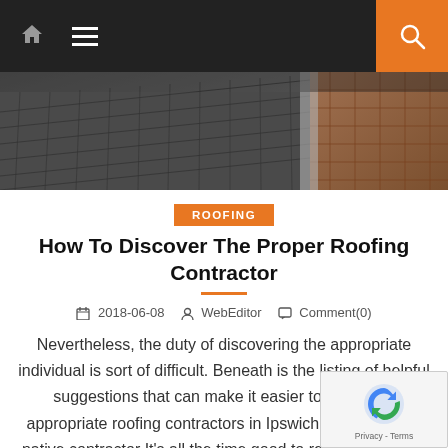[Figure (screenshot): Website navigation bar with dark background, home icon, hamburger menu icon, and orange search button on the right]
[Figure (photo): Hero image of a rooftop with dark slate tiles and brick chimney]
ROOFING
How To Discover The Proper Roofing Contractor
2018-06-08    WebEditor    Comment(0)
Nevertheless, the duty of discovering the appropriate individual is sort of difficult. Beneath is the listing of helpful suggestions that can make it easier to select the appropriate roofing contractors in Ipswich. 1. Discover a native contractor It's all the time good to rent an area firm t… simply working regionally however has a [...]